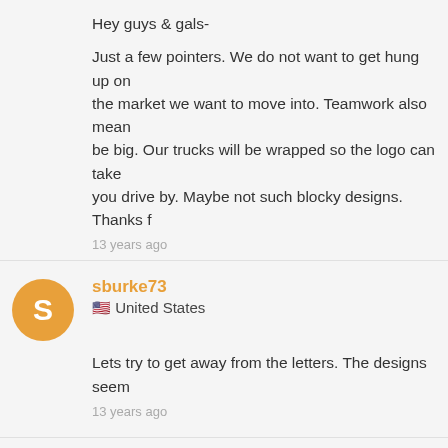Hey guys & gals-
Just a few pointers. We do not want to get hung up on the market we want to move into. Teamwork also mean be big. Our trucks will be wrapped so the logo can take you drive by. Maybe not such blocky designs. Thanks f
13 years ago
sburke73
United States
Lets try to get away from the letters. The designs seem
13 years ago
sburke73
United States
We are not to crazy about the symbols, but I am glad w
13 years ago